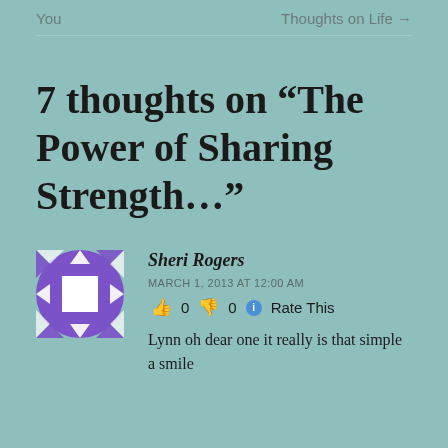You    Thoughts on Life →
7 thoughts on “The Power of Sharing Strength…”
Sheri Rogers
MARCH 1, 2013 AT 12:00 AM
👍 0 👎 0 🔵 Rate This
Lynn oh dear one it really is that simple a smile